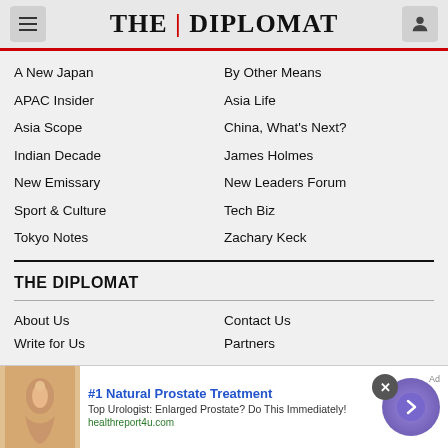THE DIPLOMAT
A New Japan
By Other Means
APAC Insider
Asia Life
Asia Scope
China, What's Next?
Indian Decade
James Holmes
New Emissary
New Leaders Forum
Sport & Culture
Tech Biz
Tokyo Notes
Zachary Keck
THE DIPLOMAT
About Us
Contact Us
Write for Us
Partners
[Figure (screenshot): Advertisement banner: #1 Natural Prostate Treatment - Top Urologist: Enlarged Prostate? Do This Immediately! healthreport4u.com]